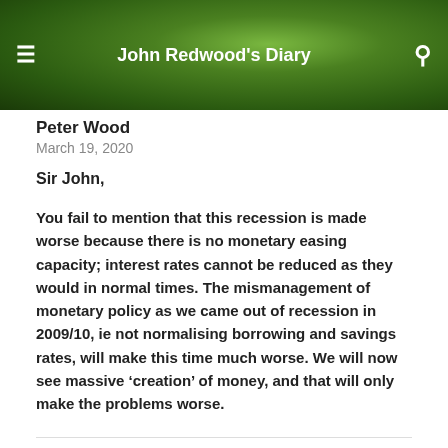John Redwood's Diary
Peter Wood
March 19, 2020
Sir John,
You fail to mention that this recession is made worse because there is no monetary easing capacity; interest rates cannot be reduced as they would in normal times. The mismanagement of monetary policy as we came out of recession in 2009/10, ie not normalising borrowing and savings rates, will make this time much worse. We will now see massive ‘creation’ of money, and that will only make the problems worse.